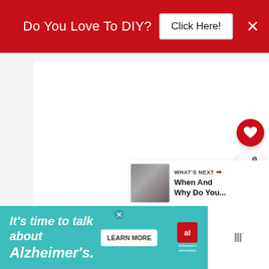[Figure (screenshot): Red banner advertisement with text 'Do You Love To DIY?' and a 'Click Here!' button on white, plus a close X button on the right.]
[Figure (screenshot): Main white content area (blank), with a red circular heart/favorite button and a white circular share button on the right side, and a 'What's Next' card showing a thumbnail and text 'When And Why Do You...' in the lower right.]
[Figure (screenshot): Bottom advertisement banner in teal: 'It's time to talk about Alzheimer's.' with a LEARN MORE button and Alzheimer's association logo, and a logo/text on the right side.]